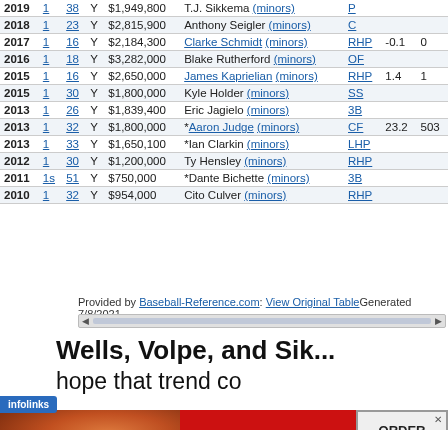| Year | Rd | Pick | Signed | Bonus | Name | Pos | WAR | G |
| --- | --- | --- | --- | --- | --- | --- | --- | --- |
| 2019 | 1 | 38 | Y | $1,949,800 | T.J. Sikkema (minors) | P |  |  |
| 2018 | 1 | 23 | Y | $2,815,900 | Anthony Seigler (minors) | C |  |  |
| 2017 | 1 | 16 | Y | $2,184,300 | Clarke Schmidt (minors) | RHP | -0.1 | 0 |
| 2016 | 1 | 18 | Y | $3,282,000 | Blake Rutherford (minors) | OF |  |  |
| 2015 | 1 | 16 | Y | $2,650,000 | James Kaprielian (minors) | RHP | 1.4 | 1 |
| 2015 | 1 | 30 | Y | $1,800,000 | Kyle Holder (minors) | SS |  |  |
| 2013 | 1 | 26 | Y | $1,839,400 | Eric Jagielo (minors) | 3B |  |  |
| 2013 | 1 | 32 | Y | $1,800,000 | *Aaron Judge (minors) | CF | 23.2 | 503 |
| 2013 | 1 | 33 | Y | $1,650,100 | *Ian Clarkin (minors) | LHP |  |  |
| 2012 | 1 | 30 | Y | $1,200,000 | Ty Hensley (minors) | RHP |  |  |
| 2011 | 1s | 51 | Y | $750,000 | *Dante Bichette (minors) | 3B |  |  |
| 2010 | 1 | 32 | Y | $954,000 | Cito Culver (minors) | RHP |  |  |
Provided by Baseball-Reference.com: View Original Table Generated 7/8/2021.
Wells, Volpe, and Sik... hope that trend co...
[Figure (screenshot): Video overlay popup: 'Up Next - Andrew Benintendi's solo HR (5)' with Ad 1 of 1 (0:30) label and baseball stadium thumbnail]
[Figure (screenshot): Seamless food delivery advertisement banner with pizza image, red background with 'seamless' text, and 'ORDER NOW' button]